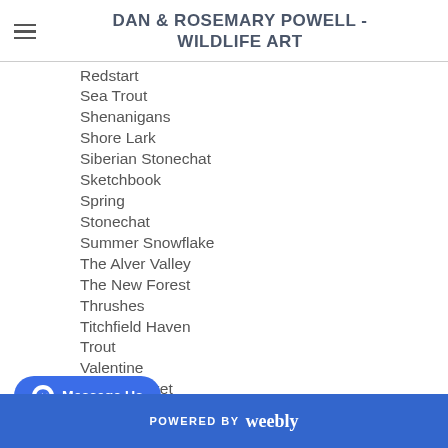DAN & ROSEMARY POWELL - WILDLIFE ART
Redstart
Sea Trout
Shenanigans
Shore Lark
Siberian Stonechat
Sketchbook
Spring
Stonechat
Summer Snowflake
The Alver Valley
The New Forest
Thrushes
Titchfield Haven
Trout
Valentine
Wood Cricket
POWERED BY weebly